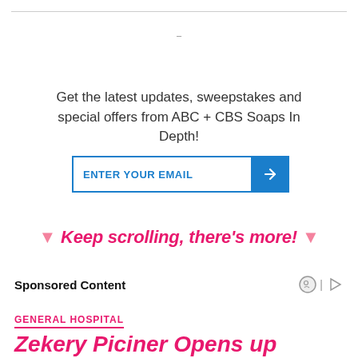Get the latest updates, sweepstakes and special offers from ABC + CBS Soaps In Depth!
[Figure (other): Email newsletter signup bar with text input 'ENTER YOUR EMAIL' and a blue arrow button]
▼ Keep scrolling, there's more! ▼
Sponsored Content
GENERAL HOSPITAL
Zekery Piciner Opens up About